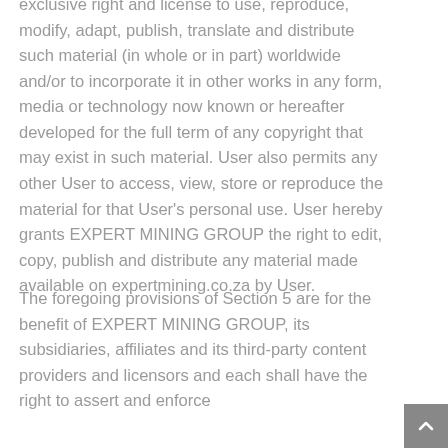exclusive right and license to use, reproduce, modify, adapt, publish, translate and distribute such material (in whole or in part) worldwide and/or to incorporate it in other works in any form, media or technology now known or hereafter developed for the full term of any copyright that may exist in such material. User also permits any other User to access, view, store or reproduce the material for that User's personal use. User hereby grants EXPERT MINING GROUP the right to edit, copy, publish and distribute any material made available on expertmining.co.za by User.
The foregoing provisions of Section 5 are for the benefit of EXPERT MINING GROUP, its subsidiaries, affiliates and its third-party content providers and licensors and each shall have the right to assert and enforce